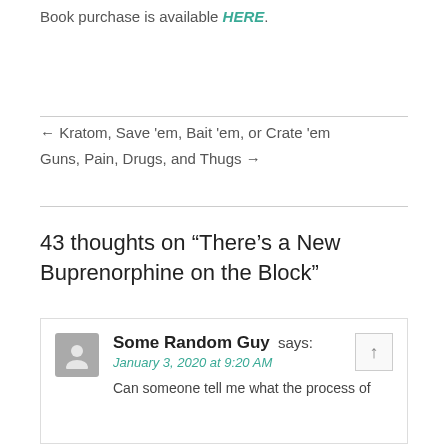Book purchase is available HERE.
← Kratom, Save 'em, Bait 'em, or Crate 'em
Guns, Pain, Drugs, and Thugs →
43 thoughts on "There's a New Buprenorphine on the Block"
Some Random Guy says:
January 3, 2020 at 9:20 AM
Can someone tell me what the process of